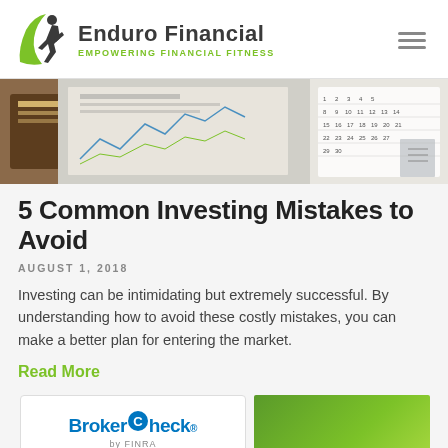Enduro Financial — EMPOWERING FINANCIAL FITNESS
[Figure (photo): Hero banner showing financial documents, charts, newspapers, a notebook, and a wall calendar on a wooden desk]
5 Common Investing Mistakes to Avoid
AUGUST 1, 2018
Investing can be intimidating but extremely successful. By understanding how to avoid these costly mistakes, you can make a better plan for entering the market.
Read More
[Figure (logo): BrokerCheck by FINRA logo — blue text with circular C motif and registered trademark symbol]